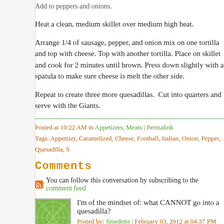Add to peppers and onions.
Heat a clean, medium skillet over medium high heat.
Arrange 1/4 of sausage, pepper, and onion mix on one tortilla and top with cheese. Top with another tortilla. Place on skillet and cook for 2 minutes until brown. Press down slightly with a spatula to make sure cheese is melted. Flip to the other side.
Repeat to create three more quesadillas. Cut into quarters and serve with the Giants.
Posted at 10:22 AM in Appetizers, Meats | Permalink
Tags: Appetizer, Caramelized, Cheese, Football, Italian, Onion, Pepper, Quesadilla, S
Comments
You can follow this conversation by subscribing to the comment feed
I'm of the mindset of: what CANNOT go into a quesadilla?
Posted by: Smedette | February 03, 2012 at 04:37 PM